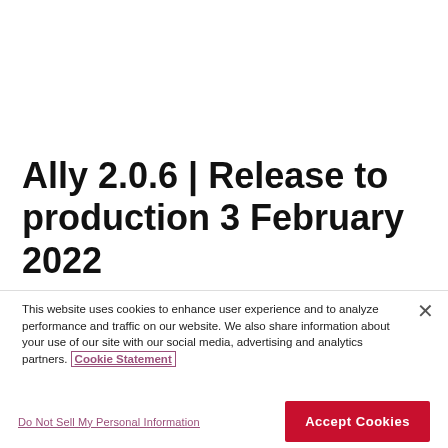Ally 2.0.6 | Release to production 3 February 2022
This website uses cookies to enhance user experience and to analyze performance and traffic on our website. We also share information about your use of our site with our social media, advertising and analytics partners. Cookie Statement
Do Not Sell My Personal Information
Accept Cookies